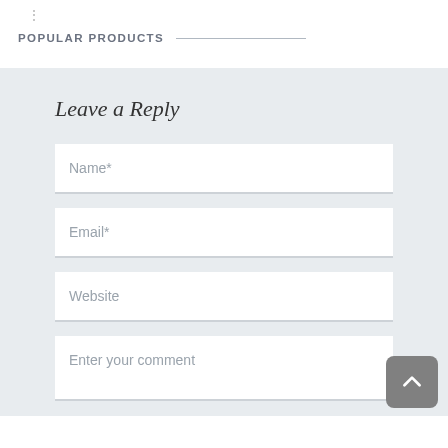POPULAR PRODUCTS
Leave a Reply
Name*
Email*
Website
Enter your comment